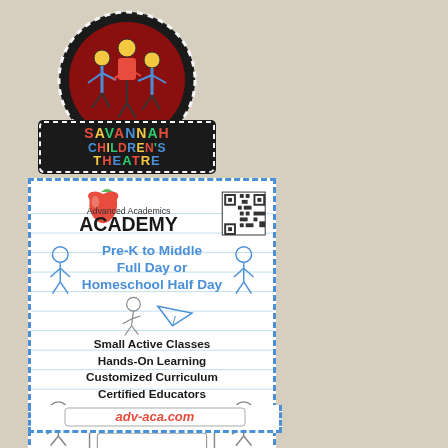[Figure (logo): Savannah Children's Theatre logo - circular marquee sign with children illustration on red background, with rectangular sign below reading SAVANNAH CHILDREN'S THEATRE in colorful letters on black background with dotted border lights]
[Figure (infographic): Advanced Academics Academy advertisement. Contains: apple logo, QR code, text: Pre-K to Middle, Full Day or Homeschool Half Day, Small Active Classes, Hands-On Learning, Customized Curriculum, Certified Educators, Call Today!, 912-348-2017, adv-aca.com. Blue dashed border, stick figure illustrations.]